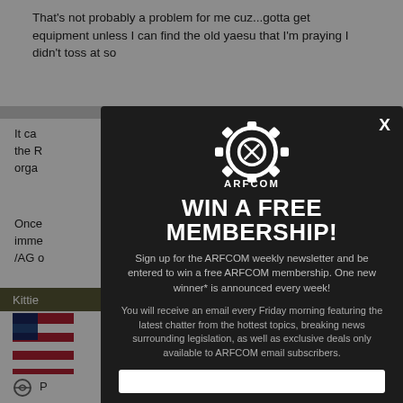That's not probably a problem for me cuz...gotta get equipment unless I can find the old yaesu that I'm praying I didn't toss at so
It ca... in the R... orga...
Once... imme... /AG o... an other
Kittie
Y, USA
P
[Figure (screenshot): ARFCOM modal popup overlay on a forum page. The modal has a dark background with the ARFCOM gear logo at the top, headline 'WIN A FREE MEMBERSHIP!', body text about signing up for the ARFCOM weekly newsletter to win a free membership with one new winner announced every week, and a second paragraph about receiving an email every Friday morning with the latest chatter. An email input field is at the bottom. A white X close button is in the top right corner.]
WIN A FREE MEMBERSHIP!
Sign up for the ARFCOM weekly newsletter and be entered to win a free ARFCOM membership. One new winner* is announced every week!
You will receive an email every Friday morning featuring the latest chatter from the hottest topics, breaking news surrounding legislation, as well as exclusive deals only available to ARFCOM email subscribers.